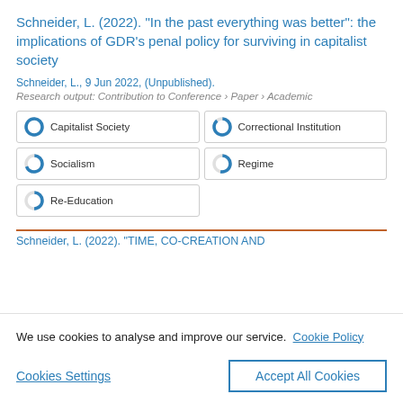Schneider, L. (2022). “In the past everything was better”: the implications of GDR’s penal policy for surviving in capitalist society
Schneider, L., 9 Jun 2022, (Unpublished).
Research output: Contribution to Conference › Paper › Academic
Capitalist Society
Correctional Institution
Socialism
Regime
Re-Education
Schneider, L. (2022). “TIME, CO-CREATION AND
We use cookies to analyse and improve our service. Cookie Policy